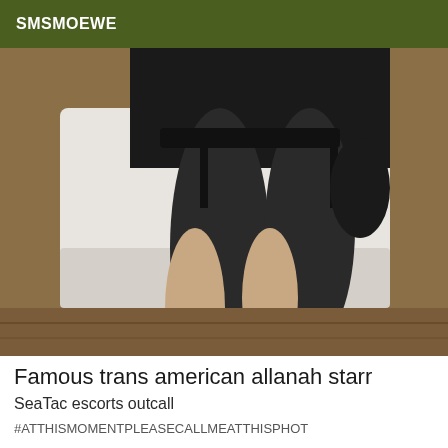SMSMOEWE
[Figure (photo): Photo of a person's legs wearing black stockings with garter belt and red high heels, seated on a white surface with a wooden floor background.]
Famous trans american allanah starr
SeaTac escorts outcall
#ATTHISMOMENTPLEASECALLMEATTHISPHOT